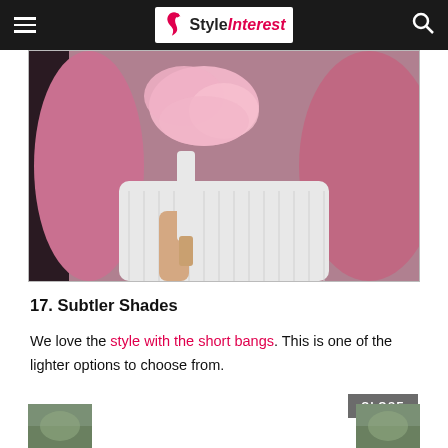StyleInterest
[Figure (photo): Woman with long pink/rose-colored wavy hair, holding a white styling tool. Pink fluffy material visible near the top of the head. White ribbed fabric visible in background.]
17. Subtler Shades
We love the style with the short bangs. This is one of the lighter options to choose from.
[Figure (photo): Small thumbnail image on the left, partially visible, appears to show an outdoor scene.]
[Figure (photo): Small thumbnail image on the right, partially visible, appears to show an outdoor scene.]